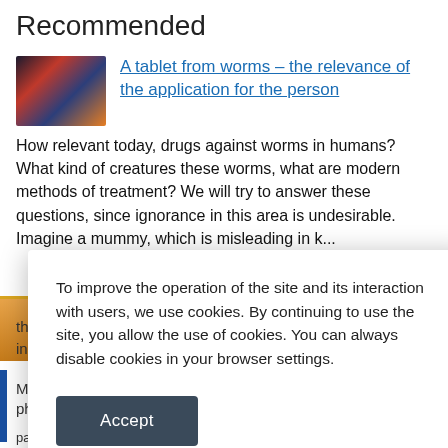Recommended
[Figure (photo): Thumbnail image with colorful abstract geometric shapes in dark blue, red, and orange tones]
A tablet from worms – the relevance of the application for the person
How relevant today, drugs against worms in humans? What kind of creatures these worms, what are modern methods of treatment? We will try to answer these questions, since ignorance in this area is undesirable. Imagine a mummy, which is misleading in k…
To improve the operation of the site and its interaction with users, we use cookies. By continuing to use the site, you allow the use of cookies. You can always disable cookies in your browser settings.
Accept
partner pleasure in bed.sex impotenceimpotence may not men to